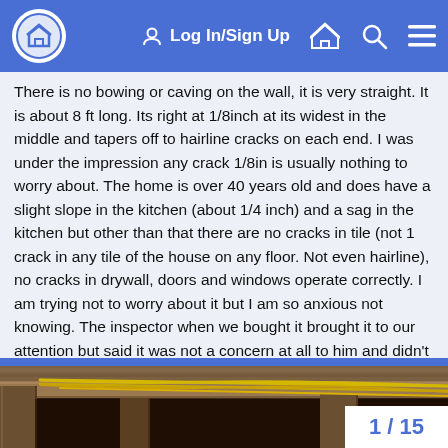Log In/Sign Up
There is no bowing or caving on the wall, it is very straight. It is about 8 ft long. Its right at 1/8inch at its widest in the middle and tapers off to hairline cracks on each end. I was under the impression any crack 1/8in is usually nothing to worry about. The home is over 40 years old and does have a slight slope in the kitchen (about 1/4 inch) and a sag in the kitchen but other than that there are no cracks in tile (not 1 crack in any tile of the house on any floor. Not even hairline), no cracks in drywall, doors and windows operate correctly. I am trying not to worry about it but I am so anxious not knowing. The inspector when we bought it brought it to our attention but said it was not a concern at all to him and didn't even mention it in the report so I thought nothing of it until I went down there the other day and it threw me off.
[Figure (photo): Photo looking up at basement ceiling/joists with yellow wires/cables running along wooden beams]
1 / 15